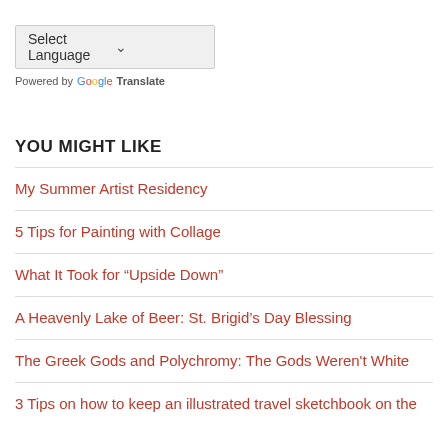[Figure (screenshot): Select Language dropdown widget powered by Google Translate]
Powered by Google Translate
YOU MIGHT LIKE
My Summer Artist Residency
5 Tips for Painting with Collage
What It Took for “Upside Down”
A Heavenly Lake of Beer: St. Brigid’s Day Blessing
The Greek Gods and Polychromy: The Gods Weren't White
3 Tips on how to keep an illustrated travel sketchbook on the